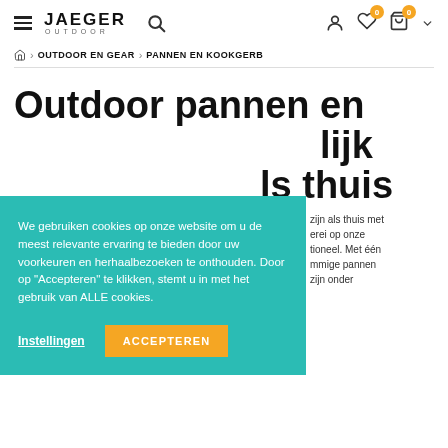JAEGER OUTDOOR — navigation header with logo, search, account, wishlist (0), cart (0)
Home > OUTDOOR EN GEAR > PANNEN EN KOOKGERB
Outdoor pannen en ... lijk ... ls thuis
We gebruiken cookies op onze website om u de meest relevante ervaring te bieden door uw voorkeuren en herhaalbezoeken te onthouden. Door op "Accepteren" te klikken, stemt u in met het gebruik van ALLE cookies.
Instellingen   ACCEPTEREN
...zijn als thuis met ...erei op onze ...tioneel. Met één ...mmige pannen ...zijn onder